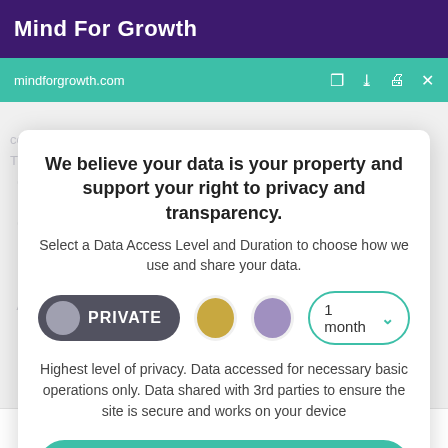Mind For Growth
mindforgrowth.com
We believe your data is your property and support your right to privacy and transparency.
Select a Data Access Level and Duration to choose how we use and share your data.
PRIVATE  1 month
Highest level of privacy. Data accessed for necessary basic operations only. Data shared with 3rd parties to ensure the site is secure and works on your device
Save my preferences
Customize  Privacy policy